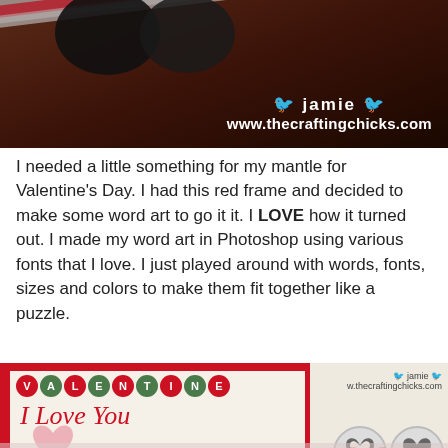[Figure (photo): Photo of craft ribbons and spools on a wooden surface, with watermark 'jamie www.thecraftingchicks.com']
I needed a little something for my mantle for Valentine's Day. I had this red frame and decided to make some word art to go it it. I LOVE how it turned out. I made my word art in Photoshop using various fonts that I love. I just played around with words, fonts, sizes and colors to make them fit together like a puzzle.
[Figure (photo): Photo of a Valentine's Day word art in a red frame reading 'VALENTINE' and 'I Love You', next to black and white damask heart decorations, with watermark 'jamie www.thecraftingchicks.com'. Reflection of the image visible below.]